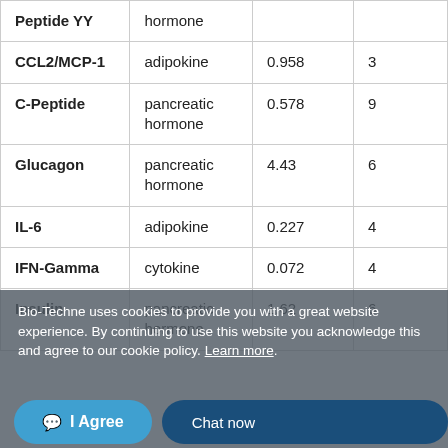| Biomarker | Type | Value | Count |
| --- | --- | --- | --- |
| Peptide YY | hormone |  |  |
| CCL2/MCP-1 | adipokine | 0.958 | 3 |
| C-Peptide | pancreatic hormone | 0.578 | 9 |
| Glucagon | pancreatic hormone | 4.43 | 6 |
| IL-6 | adipokine | 0.227 | 4 |
| IFN-Gamma | cytokine | 0.072 | 4 |
| Insulin | pancreatic hormone | 1.62 | 6 |